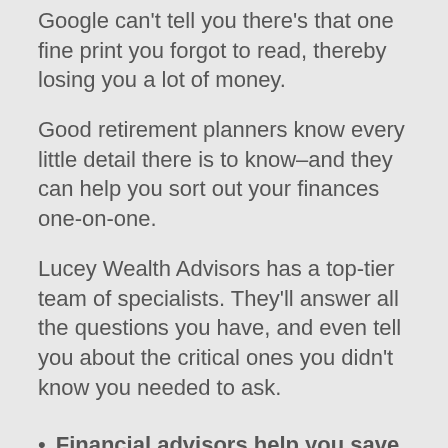Google can't tell you there's that one fine print you forgot to read, thereby losing you a lot of money.
Good retirement planners know every little detail there is to know–and they can help you sort out your finances one-on-one.
Lucey Wealth Advisors has a top-tier team of specialists. They'll answer all the questions you have, and even tell you about the critical ones you didn't know you needed to ask.
Financial advisors help you save on taxes in Martins Beach, CA
Taxes can be crazy expensive. They are legally unavoidable, but that doesn't mean there aren't legal ways to pay fewer taxes.